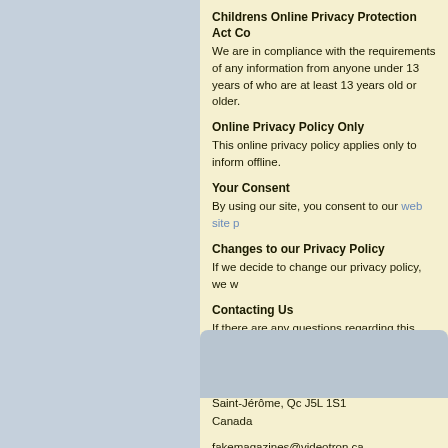Childrens Online Privacy Protection Act Co
We are in compliance with the requirements of any information from anyone under 13 years of who are at least 13 years old or older.
Online Privacy Policy Only
This online privacy policy applies only to inform offline.
Your Consent
By using our site, you consent to our web site p
Changes to our Privacy Policy
If we decide to change our privacy policy, we w
Contacting Us
If there are any questions regarding this privac
FakeMagazines.com
55, boul. Jérobelle
Saint-Jérôme, Qc J5L 1S1
Canada
fakemagazines@videotron.ca
This policy is powered by Free Privacy Policy a